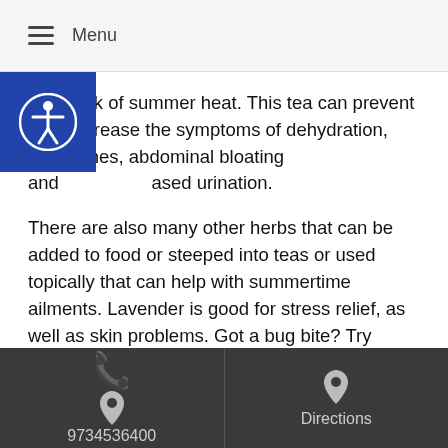Menu
an attack of summer heat. This tea can prevent and decrease the symptoms of dehydration, headaches, abdominal bloating and [de]creased urination.
There are also many other herbs that can be added to food or steeped into teas or used topically that can help with summertime ailments. Lavender is good for stress relief, as well as skin problems. Got a bug bite? Try applying some diluted tea tree oil. Elder flowers can assist with upper respiratory congestion that is sometimes common. Dandelions can be steeped into a tea that will help reduce a fever.
There are many ways herbs and herbal formulas can help during the warm summer months. Many of the single herbs can be found already made in teabags at the local grocery store. For the herbal formulations, you should check with a licensed TCM practitioner or herbalist in your
9734536400  Directions